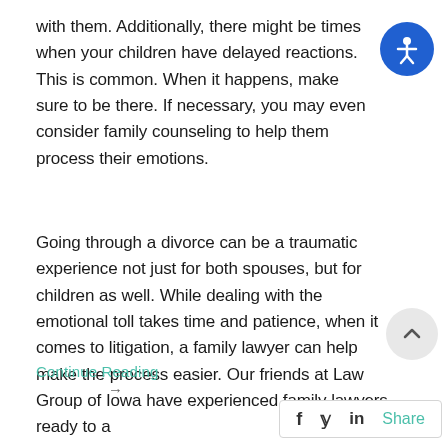with them. Additionally, there might be times when your children have delayed reactions. This is common. When it happens, make sure to be there. If necessary, you may even consider family counseling to help them process their emotions.
Going through a divorce can be a traumatic experience not just for both spouses, but for children as well. While dealing with the emotional toll takes time and patience, when it comes to litigation, a family lawyer can help make the process easier. Our friends at Law Group of Iowa have experienced family lawyers ready to a
Continue Reading →
f  𝕏  in  Share